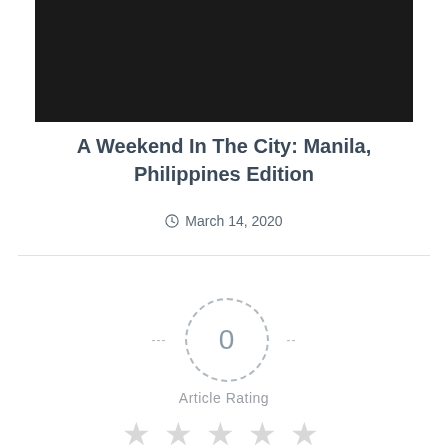[Figure (photo): Dark/black image block at the top of the page]
A Weekend In The City: Manila, Philippines Edition
March 14, 2020
[Figure (infographic): Article rating widget showing a dashed circle with 0 in the center, dashes on both sides, 'Article Rating' label, and five empty star icons below]